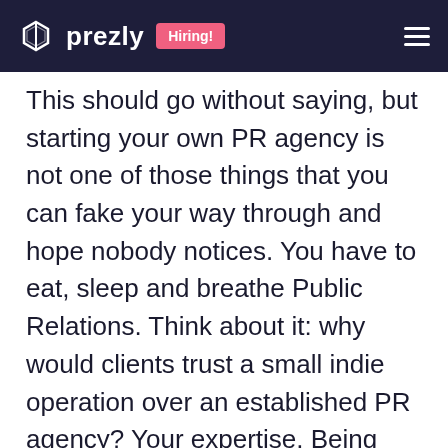prezly Hiring!
This should go without saying, but starting your own PR agency is not one of those things that you can fake your way through and hope nobody notices. You have to eat, sleep and breathe Public Relations. Think about it: why would clients trust a small indie operation over an established PR agency? Your expertise. Being confident in your craft, aware of the current and evolving industry trends, and knowing how data and strategy